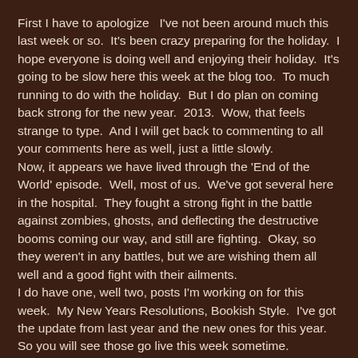First I have to apologize   I've not been around much this last week or so.  It's been crazy preparing for the holiday.  I hope everyone is doing well and enjoying their holiday.  It's going to be slow here this week at the blog too.  To much running to do with the holiday.  But I do plan on coming back strong for the new year.  2013.  Wow, that feels strange to type.  And I will get back to commenting to all your comments here as well, just a little slowly.
Now, it appears we have lived through the 'End of the World' episode.  Well, most of us.  We've got several here in the hospital.  They fought a strong fight in the battle against zombies, ghosts, and deflecting the destructive booms coming our way, and still are fighting.  Okay, so they weren't in any battles, but we are wishing them all well and a good fight with their ailments.
I do have one, well two, posts I'm working on for this week.  My New Years Resolutions, Bookish Style.  I've got the update from last year and the new ones for this year.  So you will see those go live this week sometime.